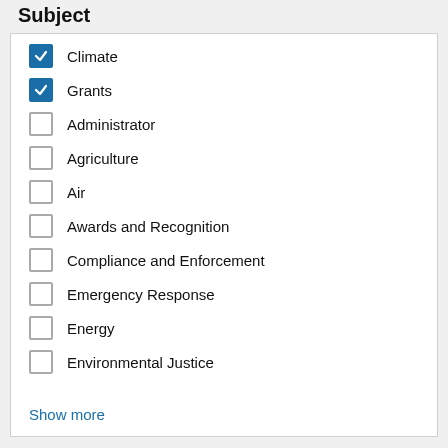Subject
Climate (checked)
Grants (checked)
Administrator
Agriculture
Air
Awards and Recognition
Compliance and Enforcement
Emergency Response
Energy
Environmental Justice
Show more